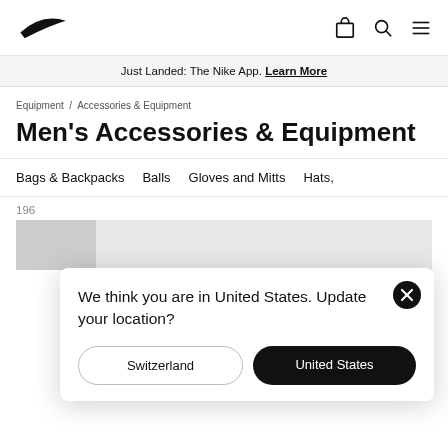[Figure (logo): Nike swoosh logo in black]
Just Landed: The Nike App. Learn More
Equipment / Accessories & Equipment
Men's Accessories & Equipment
Bags & Backpacks   Balls   Gloves and Mitts   Hats,
196
We think you are in United States. Update your location?
Switzerland
United States